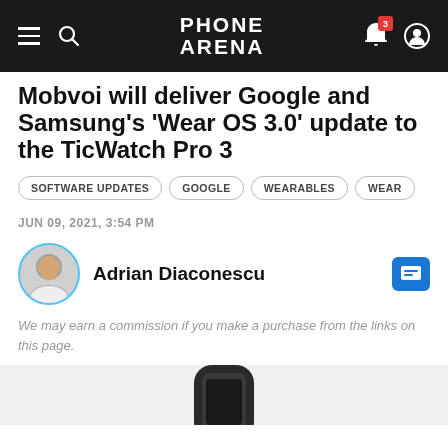PHONE ARENA
Mobvoi will deliver Google and Samsung's 'Wear OS 3.0' update to the TicWatch Pro 3
SOFTWARE UPDATES
GOOGLE
WEARABLES
WEAR
JUN 09, 2021, 3:54 PM
Adrian Diaconescu
We may earn a commission if you make a purchase from the links on this page.
[Figure (photo): Bottom portion of a TicWatch Pro 3 smartwatch on a light gray background]